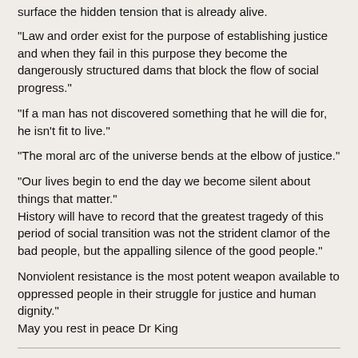surface the hidden tension that is already alive.
“Law and order exist for the purpose of establishing justice and when they fail in this purpose they become the dangerously structured dams that block the flow of social progress.”
“If a man has not discovered something that he will die for, he isn’t fit to live.”
“The moral arc of the universe bends at the elbow of justice.”
“Our lives begin to end the day we become silent about things that matter.”
History will have to record that the greatest tragedy of this period of social transition was not the strident clamor of the bad people, but the appalling silence of the good people.”
Nonviolent resistance is the most potent weapon available to oppressed people in their struggle for justice and human dignity.”
May you rest in peace Dr King